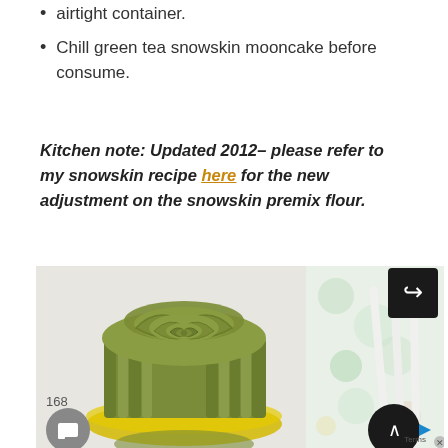airtight container.
Chill green tea snowskin mooncake before consume.
Kitchen note: Updated 2012– please refer to my snowskin recipe here for the new adjustment on the snowskin premix flour.
[Figure (photo): Green tea snowskin mooncake shaped like a rose, sitting on a yellow plate/mold. Decorative floral wrapping paper visible on the right side. A second mooncake partially visible at the bottom.]